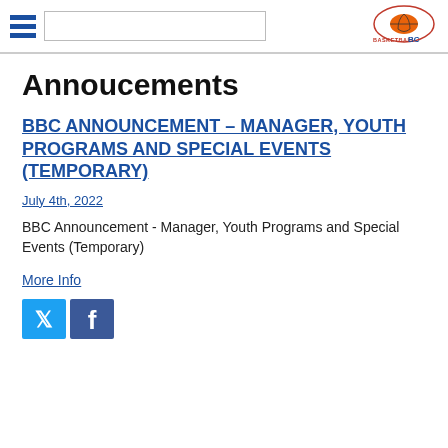Basketball BC website header with hamburger menu, search box, and Basketball BC logo
Annoucements
BBC ANNOUNCEMENT - MANAGER, YOUTH PROGRAMS AND SPECIAL EVENTS (TEMPORARY)
July 4th, 2022
BBC Announcement - Manager, Youth Programs and Special Events (Temporary)
More Info
[Figure (logo): Twitter and Facebook social media share icons]